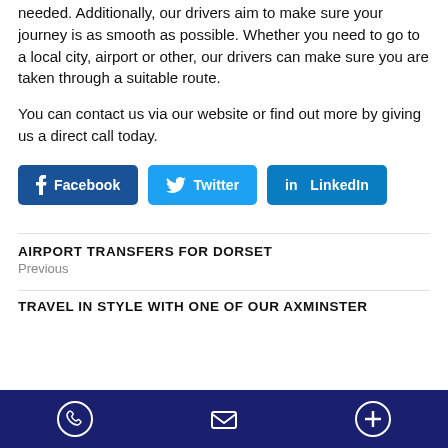needed. Additionally, our drivers aim to make sure your journey is as smooth as possible. Whether you need to go to a local city, airport or other, our drivers can make sure you are taken through a suitable route.
You can contact us via our website or find out more by giving us a direct call today.
[Figure (infographic): Social share buttons for Facebook, Twitter, and LinkedIn]
AIRPORT TRANSFERS FOR DORSET
Previous
TRAVEL IN STYLE WITH ONE OF OUR AXMINSTER
Phone, Email, and Plus icons in dark navy footer bar